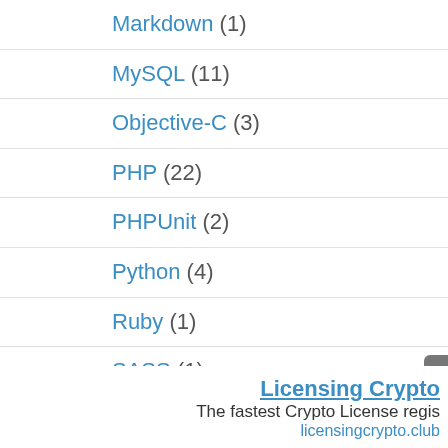Markdown (1)
MySQL (11)
Objective-C (3)
PHP (22)
PHPUnit (2)
Python (4)
Ruby (1)
SASS (1)
Subversion (7)
Swift (4)
Licensing Crypto
The fastest Crypto License regis
licensingcrypto.club